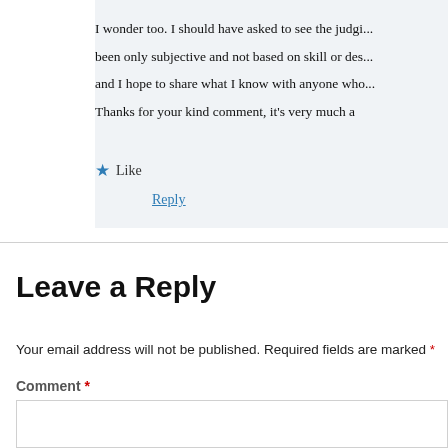I wonder too. I should have asked to see the judging criteria. It may have been only subjective and not based on skill or design knowledge. And I hope to share what I know with anyone who wants to learn. Thanks for your kind comment, it's very much a
Like
Reply
Leave a Reply
Your email address will not be published. Required fields are marked *
Comment *